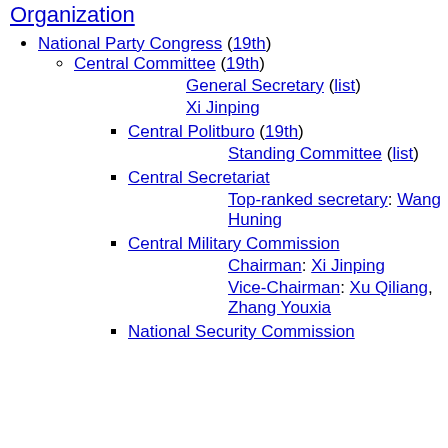Organization
National Party Congress (19th)
Central Committee (19th)
General Secretary (list)
Xi Jinping
Central Politburo (19th)
Standing Committee (list)
Central Secretariat
Top-ranked secretary: Wang Huning
Central Military Commission
Chairman: Xi Jinping
Vice-Chairman: Xu Qiliang, Zhang Youxia
National Security Commission